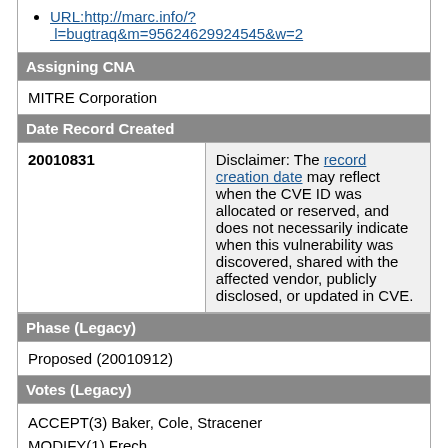URL:http://marc.info/?l=bugtraq&m=95624629924545&w=2
Assigning CNA
MITRE Corporation
Date Record Created
| 20010831 | Disclaimer: The record creation date may reflect when the CVE ID was allocated or reserved, and does not necessarily indicate when this vulnerability was discovered, shared with the affected vendor, publicly disclosed, or updated in CVE. |
Phase (Legacy)
Proposed (20010912)
Votes (Legacy)
ACCEPT(3) Baker, Cole, Stracener
MODIFY(1) Frech
NOOP(2) Foat, Wall
Comments (Legacy)